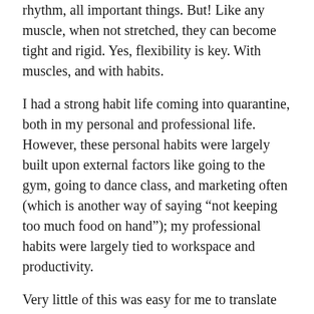rhythm, all important things.  But!  Like any muscle, when not stretched, they can become tight and rigid.  Yes, flexibility is key.  With muscles, and with habits.
I had a strong habit life coming into quarantine, both in my personal and professional life.  However, these personal habits were largely built upon external factors like going to the gym, going to dance class, and marketing often (which is another way of saying “not keeping too much food on hand”); my professional habits were largely tied to workspace and productivity.
Very little of this was easy for me to translate into quarantine.  I have been somewhat vocal and transparent about how challenging I have found this transition to be, which is why I want to be equally as vocal and transparent about things that have helped me find my way.